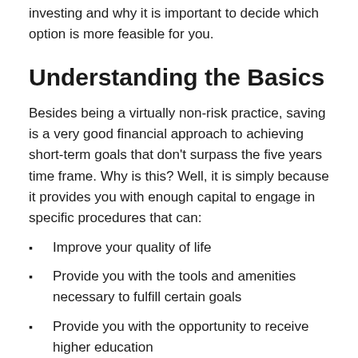What are the actual differences between saving and investing and why it is important to decide which option is more feasible for you.
Understanding the Basics
Besides being a virtually non-risk practice, saving is a very good financial approach to achieving short-term goals that don't surpass the five years time frame. Why is this? Well, it is simply because it provides you with enough capital to engage in specific procedures that can:
Improve your quality of life
Provide you with the tools and amenities necessary to fulfill certain goals
Provide you with the opportunity to receive higher education
Increase your professional capabilities thanks to tools